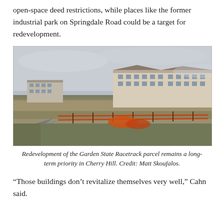open-space deed restrictions, while places like the former industrial park on Springdale Road could be a target for redevelopment.
[Figure (photo): Photograph of the Garden State Racetrack parcel redevelopment site. In the background are multi-story apartment buildings on the left and right sides. The foreground shows a wide flat open field with orange construction fencing and a paved path at the bottom left. The sky is overcast and grey. Bare trees are visible along the horizon.]
Redevelopment of the Garden State Racetrack parcel remains a long-term priority in Cherry Hill. Credit: Matt Skoufalos.
“Those buildings don’t revitalize themselves very well,” Cahn said.